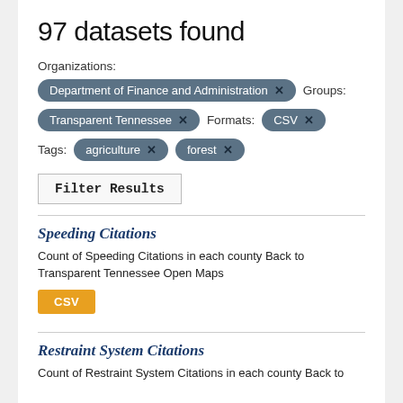97 datasets found
Organizations:
Department of Finance and Administration ✕   Groups:
Transparent Tennessee ✕   Formats: CSV ✕
Tags: agriculture ✕   forest ✕
Filter Results
Speeding Citations
Count of Speeding Citations in each county Back to Transparent Tennessee Open Maps
CSV
Restraint System Citations
Count of Restraint System Citations in each county Back to